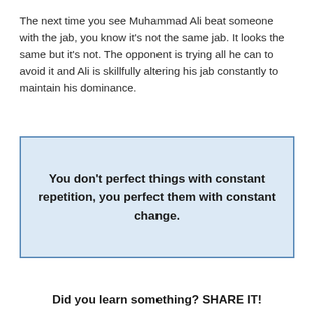The next time you see Muhammad Ali beat someone with the jab, you know it's not the same jab. It looks the same but it's not. The opponent is trying all he can to avoid it and Ali is skillfully altering his jab constantly to maintain his dominance.
You don't perfect things with constant repetition, you perfect them with constant change.
Did you learn something? SHARE IT!